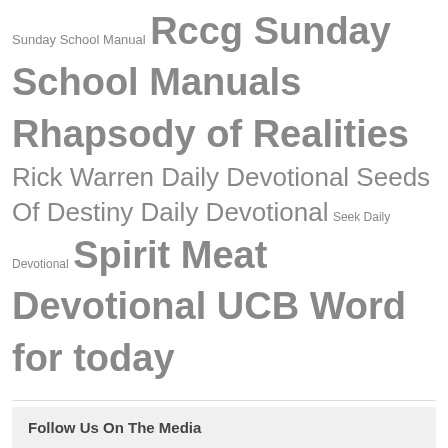Sunday School Manual Rccg Sunday School Manuals Rhapsody of Realities Rick Warren Daily Devotional Seeds Of Destiny Daily Devotional Seek Daily Devotional Spirit Meat Devotional UCB Word for today
Follow Us On The Media
Privacy & Cookies: This site uses cookies. By continuing to use this website, you agree to their use.
To find out more, including how to control cookies, see here: Cookie Policy
Close and accept
Select Language